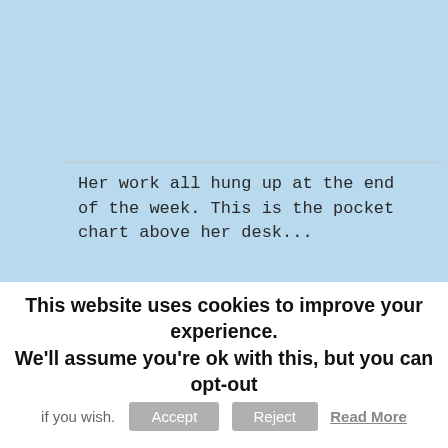Her work all hung up at the end of the week. This is the pocket chart above her desk...
[Figure (photo): Photo of a blue fabric pocket chart on a wall displaying alphabet letter 'C' learning materials, worksheets with cats and drawings, and a Bible verse 'Children, obey your parents in all things, for this is well pleasing to the Lord.']
This website uses cookies to improve your experience. We'll assume you're ok with this, but you can opt-out if you wish.